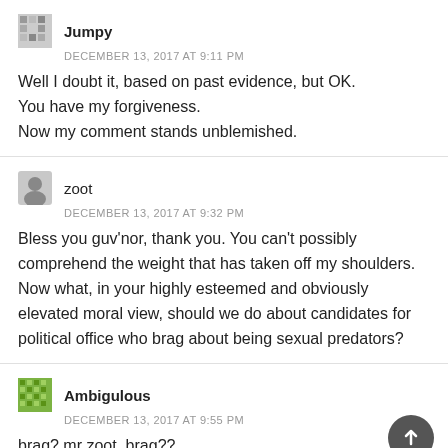Jumpy
DECEMBER 13, 2017 AT 9:11 PM
Well I doubt it, based on past evidence, but OK. You have my forgiveness. Now my comment stands unblemished.
zoot
DECEMBER 13, 2017 AT 9:32 PM
Bless you guv'nor, thank you. You can't possibly comprehend the weight that has taken off my shoulders. Now what, in your highly esteemed and obviously elevated moral view, should we do about candidates for political office who brag about being sexual predators?
Ambigulous
DECEMBER 13, 2017 AT 9:55 PM
brag? mr zoot, brag??